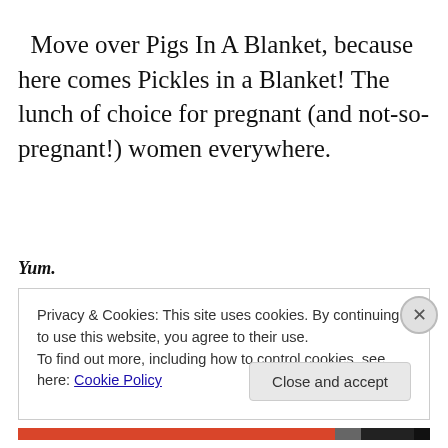Move over Pigs In A Blanket, because here comes Pickles in a Blanket! The lunch of choice for pregnant (and not-so-pregnant!) women everywhere.
Yum.
Privacy & Cookies: This site uses cookies. By continuing to use this website, you agree to their use.
To find out more, including how to control cookies, see here: Cookie Policy
Close and accept